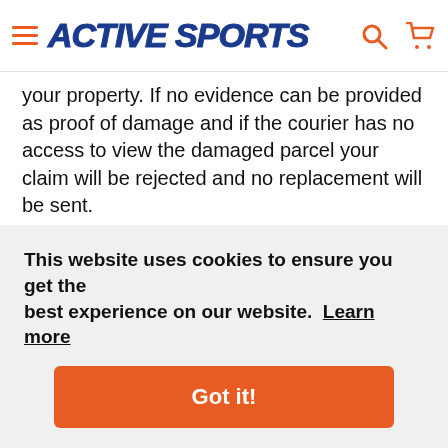ACTIVE SPORTS
your property. If no evidence can be provided as proof of damage and if the courier has no access to view the damaged parcel your claim will be rejected and no replacement will be sent.
Events beyond our reasonable control
We will not be held responsible for any delay or failure to comply with our obligations under these conditions if the delay or failure arises from any cause that is
ies not
This website uses cookies to ensure you get the best experience on our website. Learn more
Got it!
N, we disclaim any and all warranties of any kind whether